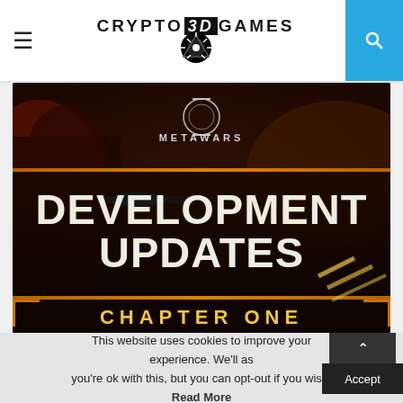CRYPTO 3D GAMES
[Figure (illustration): MetaWars game promotional image showing 'DEVELOPMENT UPDATES CHAPTER ONE' text on a sci-fi dark background with robot/mech imagery and orange accents]
This website uses cookies to improve your experience. We'll as you're ok with this, but you can opt-out if you wish. Accept Read More